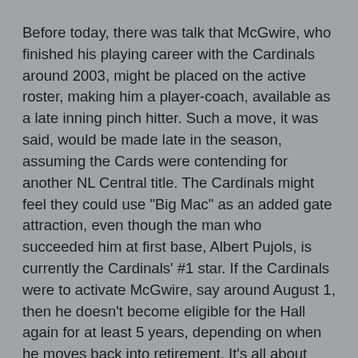Before today, there was talk that McGwire, who finished his playing career with the Cardinals around 2003, might be placed on the active roster, making him a player-coach, available as a late inning pinch hitter. Such a move, it was said, would be made late in the season, assuming the Cards were contending for another NL Central title. The Cardinals might feel they could use "Big Mac" as an added gate attraction, even though the man who succeeded him at first base, Albert Pujols, is currently the Cardinals' #1 star. If the Cardinals were to activate McGwire, say around August 1, then he doesn't become eligible for the Hall again for at least 5 years, depending on when he moves back into retirement. It's all about image rehabilitation in this case.
I seem to recall reading a newspaper account that said that McGwire had a bottle of andro in his locker during the '98 season. At the time, it wasn't a banned substance, but it would later be added to the list of prohibited items. In 2010, if McGwire and the Cardinals are serious about having "Big Mac" come out of retirement as a late-season offensive weapon, and he really is willing to repent for his steroid use